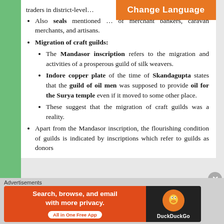traders in district-level...
Also seals mentioned ... of merchant bankers, caravan merchants, and artisans.
Migration of craft guilds:
The Mandasor inscription refers to the migration and activities of a prosperous guild of silk weavers.
Indore copper plate of the time of Skandagupta states that the guild of oil men was supposed to provide oil for the Surya temple even if it moved to some other place.
These suggest that the migration of craft guilds was a reality.
Apart from the Mandasor inscription, the flourishing condition of guilds is indicated by inscriptions which refer to guilds as donors
[Figure (infographic): Orange 'Change Language' button overlay in top right]
[Figure (infographic): DuckDuckGo advertisement banner at bottom: 'Search, browse, and email with more privacy. All in One Free App']
Advertisements